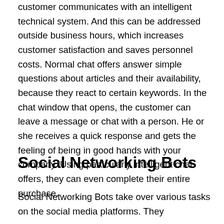customer communicates with an intelligent technical system. And this can be addressed outside business hours, which increases customer satisfaction and saves personnel costs. Normal chat offers answer simple questions about articles and their availability, because they react to certain keywords. In the chat window that opens, the customer can leave a message or chat with a person. He or she receives a quick response and gets the feeling of being in good hands with your company. Using particularly intelligent chat offers, they can even complete their entire purchase.
Social Networking Bots
Social Networking Bots take over various tasks on the social media platforms. They